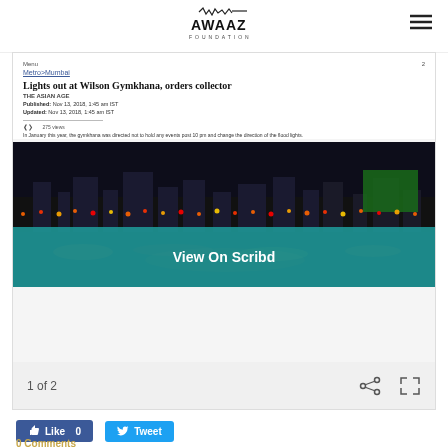AWAAZ FOUNDATION
[Figure (screenshot): Embedded Scribd document viewer showing a news article titled 'Lights out at Wilson Gymkhana, orders collector' from THE ASIAN AGE, published Nov 13, 2018, with a night cityscape photo and a 'View On Scribd' overlay button. Navigation shows '1 of 2'.]
Like 0   Tweet
0 Comments